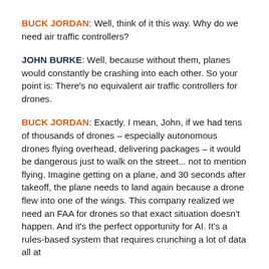BUCK JORDAN: Well, think of it this way. Why do we need air traffic controllers?
JOHN BURKE: Well, because without them, planes would constantly be crashing into each other. So your point is: There's no equivalent air traffic controllers for drones.
BUCK JORDAN: Exactly. I mean, John, if we had tens of thousands of drones – especially autonomous drones flying overhead, delivering packages – it would be dangerous just to walk on the street... not to mention flying. Imagine getting on a plane, and 30 seconds after takeoff, the plane needs to land again because a drone flew into one of the wings. This company realized we need an FAA for drones so that exact situation doesn't happen. And it's the perfect opportunity for AI. It's a rules-based system that requires crunching a lot of data all at